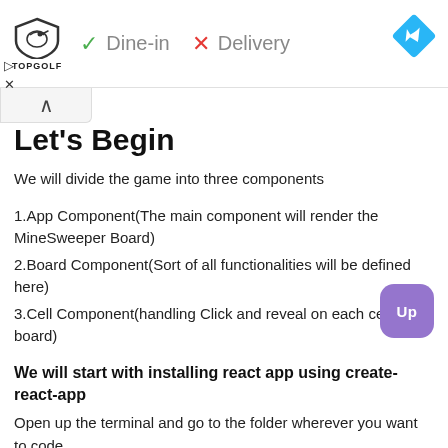[Figure (infographic): Advertisement banner with Topgolf logo, Dine-in (checkmark) and Delivery (X cross) options, and a blue diamond navigation icon on the right]
Let's Begin
We will divide the game into three components
1.App Component(The main component will render the MineSweeper Board)
2.Board Component(Sort of all functionalities will be defined here)
3.Cell Component(handling Click and reveal on each cell of the board)
We will start with installing react app using create-react-app
Open up the terminal and go to the folder wherever you want to code
npx create-react-app minesweeper-react
This will create a minesweeper-react folder in your desired